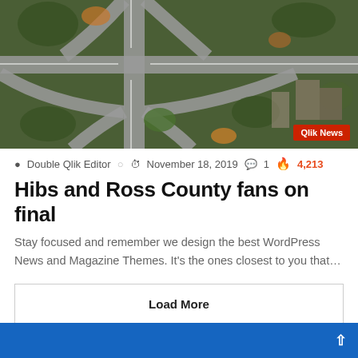[Figure (photo): Aerial view of a complex highway interchange surrounded by trees and urban buildings, top-down perspective. A red badge reading 'Qlik News' is overlaid in the bottom-right corner.]
Double Qlik Editor   November 18, 2019   1   4,213
Hibs and Ross County fans on final
Stay focused and remember we design the best WordPress News and Magazine Themes. It's the ones closest to you that…
Load More
Most Viewed